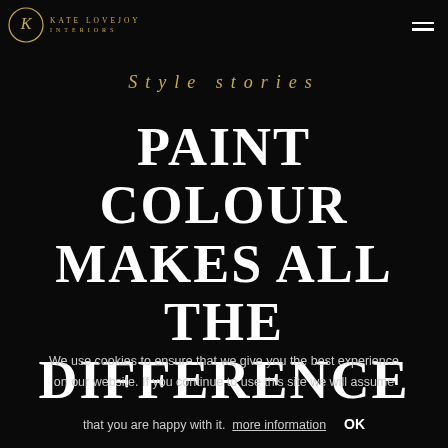KATE LOVEJOY INTERIORS
Style stories
PAINT COLOUR MAKES ALL THE DIFFERENCE
We use cookies to ensure that we give you the best experience on our website. If you continue to use this site we will assume that you are happy with it.  more information  OK